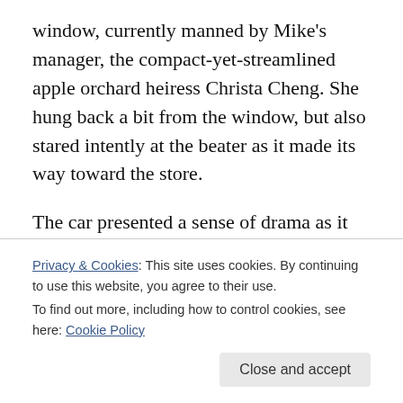window, currently manned by Mike's manager, the compact-yet-streamlined apple orchard heiress Christa Cheng. She hung back a bit from the window, but also stared intently at the beater as it made its way toward the store.
The car presented a sense of drama as it moved, every shake of its frame suggesting the looming possibility of the automotive equivalent of a heart attack.
It passed behind the restaurant and pulled up to the
intercom, and it left Christa badly smiled.
Privacy & Cookies: This site uses cookies. By continuing to use this website, you agree to their use.
To find out more, including how to control cookies, see here: Cookie Policy